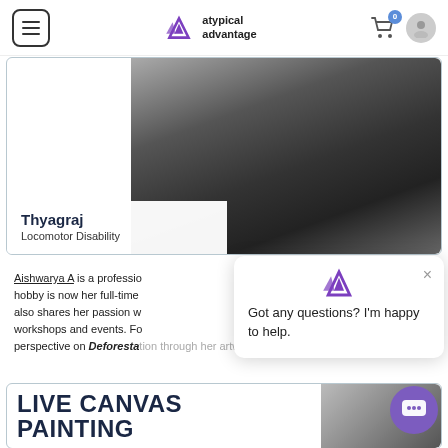atypical advantage — navigation bar with hamburger menu, logo, cart (0), and user icon
[Figure (photo): Card showing person wearing black puffer jacket (grayscale photo), with name 'Thyagraj' and subtitle 'Locomotor Disability']
Thyagraj
Locomotor Disability
Aishwarya A is a professio... hobby is now her full-time... also shares her passion w... workshops and events. Fo... perspective on Deforestation through her artwork...
[Figure (screenshot): Chat popup with atypical advantage logo and message: Got any questions? I'm happy to help.]
[Figure (screenshot): Bottom card showing text 'LIVE CANVAS PAINTING' in dark bold font with a partially visible image on the right]